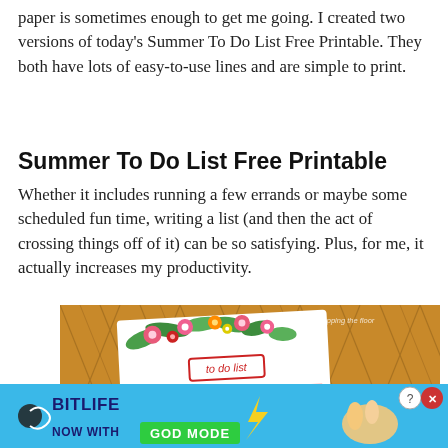paper is sometimes enough to get me going. I created two versions of today's Summer To Do List Free Printable. They both have lots of easy-to-use lines and are simple to print.
Summer To Do List Free Printable
Whether it includes running a few errands or maybe some scheduled fun time, writing a list (and then the act of crossing things off of it) can be so satisfying. Plus, for me, it actually increases my productivity.
[Figure (photo): A summer-themed to do list printable on a decorative paper with tropical flowers, placed on a wooden surface. Text 'to do list' is shown on the printable. Watermark reads 'i should be mopping the floor'.]
[Figure (screenshot): Advertisement banner for BitLife game. Sky blue background with text 'BITLIFE NOW WITH GOD MODE' and cartoon hand graphic. Shows a help/question icon and close button.]